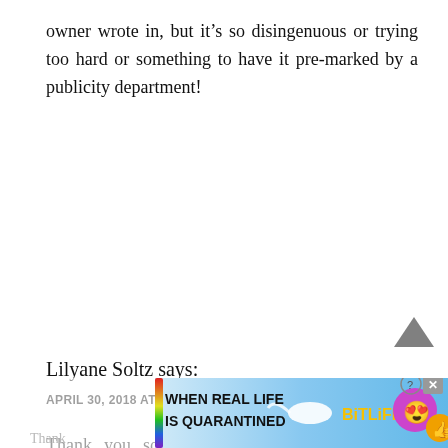owner wrote in, but it’s so disingenuous or trying too hard or something to have it pre-marked by a publicity department!
Reply
Lilyane Soltz says:
APRIL 30, 2018 AT 1:26 PM
Thank you so much! I’ve been missing Kate Morton and am delighted to discover she has a new book coming soon. My day is made – I couldn’t have done it without you!
[Figure (screenshot): BitLife advertisement banner at bottom of page showing colorful rainbow graphic and text 'WHEN REAL LIFE IS QUARANTINED' with BitLife logo and emoji]